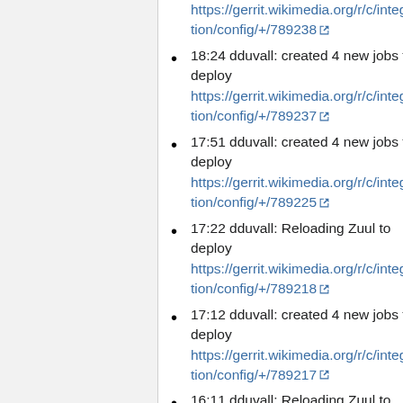18:24 dduvall: created 4 new jobs to deploy https://gerrit.wikimedia.org/r/c/integration/config/+/789237
17:51 dduvall: created 4 new jobs to deploy https://gerrit.wikimedia.org/r/c/integration/config/+/789225
17:22 dduvall: Reloading Zuul to deploy https://gerrit.wikimedia.org/r/c/integration/config/+/789218
17:12 dduvall: created 4 new jobs to deploy https://gerrit.wikimedia.org/r/c/integration/config/+/789217
16:11 dduvall: Reloading Zuul to deploy